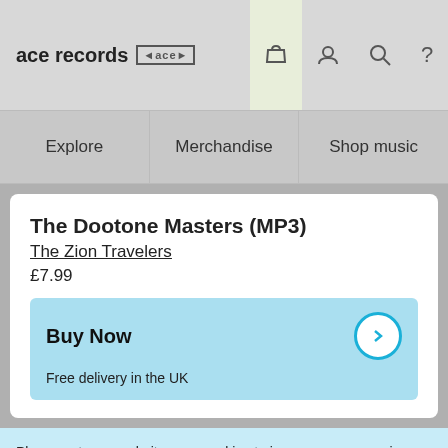ace records [logo]
The Dootone Masters (MP3)
The Zion Travelers
£7.99
Buy Now
Free delivery in the UK
Please note our website uses cookies to improve your experience. I understand. For more information see our Privacy Notice & Cookie Policy.